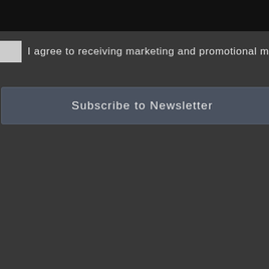[Figure (screenshot): Dark input field at the top of the page, partially cropped]
I agree to receiving marketing and promotional materials *
Subscribe to Newsletter